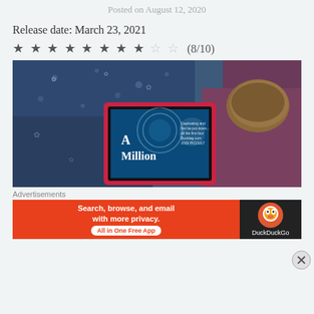Posted on August 12, 2020
Release date: March 23, 2021
★ ★ ★ ★ ★ ★ ★ ★ ☆ ☆ (8/10)
[Figure (photo): Photo of a tablet/e-reader showing the book cover 'A Million...' resting on patterned blue fabric with a round bread roll beside it]
Advertisements
[Figure (screenshot): DuckDuckGo advertisement banner: 'Search, browse, and email with more privacy. All in One Free App' on an orange background with DuckDuckGo logo on dark right panel]